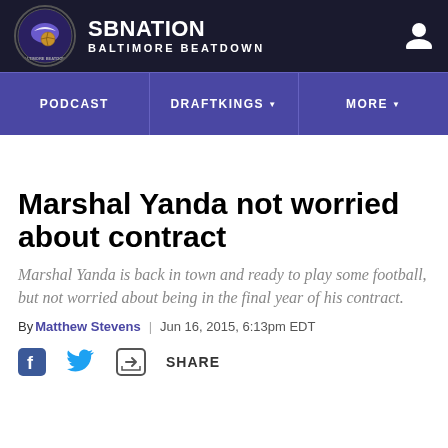SB NATION | BALTIMORE BEATDOWN
[Figure (logo): SB Nation Baltimore Beatdown circular logo with bird and basketball imagery]
PODCAST | DRAFTKINGS | MORE
Marshal Yanda not worried about contract
Marshal Yanda is back in town and ready to play some football, but not worried about being in the final year of his contract.
By Matthew Stevens | Jun 16, 2015, 6:13pm EDT
SHARE